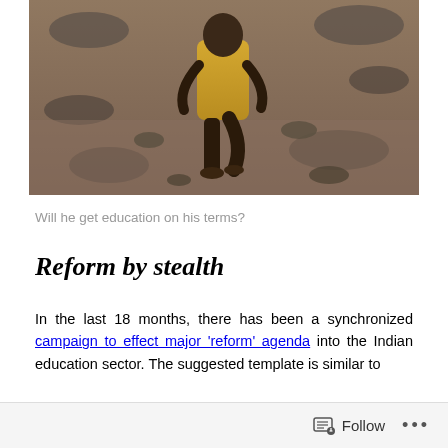[Figure (photo): A child in a yellow shirt running barefoot on rocky/muddy ground, viewed from behind]
Will he get education on his terms?
Reform by stealth
In the last 18 months, there has been a synchronized campaign to effect major ‘reform’ agenda into the Indian education sector. The suggested template is similar to
Follow